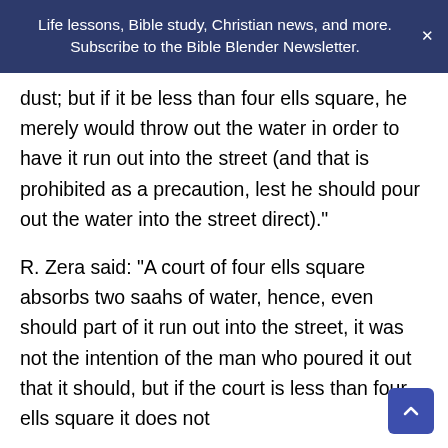Life lessons, Bible study, Christian news, and more. Subscribe to the Bible Blender Newsletter.
dust; but if it be less than four ells square, he merely would throw out the water in order to have it run out into the street (and that is prohibited as a precaution, lest he should pour out the water into the street direct)."
R. Zera said: “A court of four ells square absorbs two saahs of water, hence, even should part of it run out into the street, it was not the intention of the man who poured it out that it should, but if the court is less than four ells square it does not